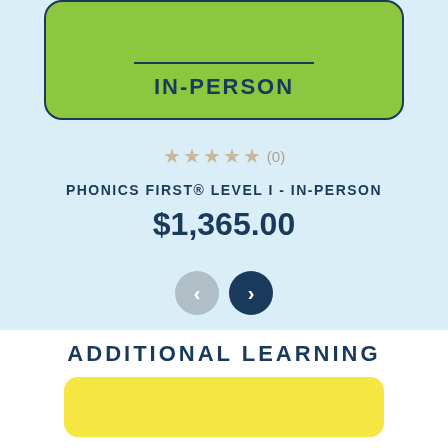[Figure (other): Green rounded card with a horizontal line above bold text reading IN-PERSON, outlined in dark navy, on a light blue background]
★★★★★ (0)
PHONICS FIRST® LEVEL I - IN-PERSON
$1,365.00
[Figure (other): Navigation buttons: left arrow (gray circle) and right arrow (dark navy circle)]
ADDITIONAL LEARNING
[Figure (other): Partial view of a yellow rounded card at the bottom of the page]